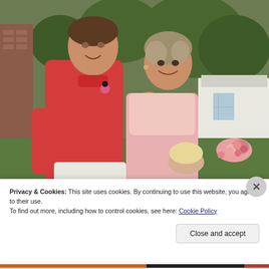[Figure (photo): A couple and a young child standing outdoors. The man on the left wears a red/coral linen shirt and white pants with a flower boutonniere. The woman in the center wears a sleeveless pink dress and has short blonde hair. A small blonde child is partially visible in front. Background shows green trees, a brick building, and a white ornate bench with flowers.]
Privacy & Cookies: This site uses cookies. By continuing to use this website, you agree to their use.
To find out more, including how to control cookies, see here: Cookie Policy
Close and accept